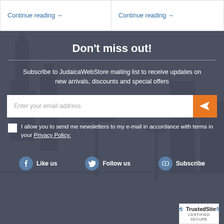Continue reading →
Continue reading →
Don't miss out!
Subscribe to JudaicaWebStore mailing list to receive updates on new arrivals, discounts and special offers
Enter your email address
I allow you to send me newsletters to my e-mail in accordance with terms in your Privacy Policy.
Like us
Follow us
Subscribe
[Figure (logo): TrustedSite CERTIFIED SECURE badge]